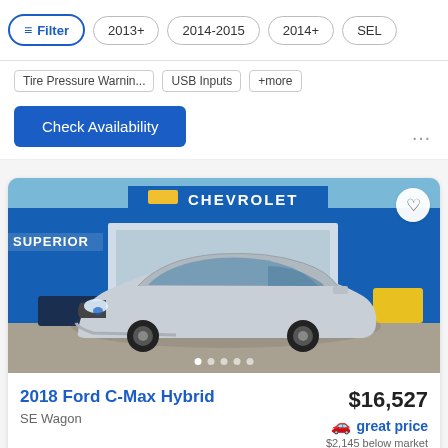Filter  2013+  2014-2015  2014+  SEL
Tire Pressure Warnin...  USB Inputs  +more
Check Availability
[Figure (photo): Silver 2018 Ford C-Max Hybrid parked in front of a Superior Chevrolet dealership with blue facade and Chevrolet sign]
2018 Ford C-Max Hybrid
SE Wagon
$16,527
great price